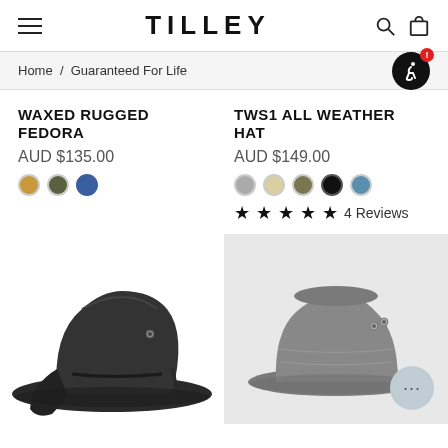TILLEY
Home / Guaranteed For Life
WAXED RUGGED FEDORA
AUD $135.00
TWS1 ALL WEATHER HAT
AUD $149.00
4 Reviews
[Figure (photo): Dark charcoal waxed fedora hat with ear flaps, viewed from side angle]
[Figure (photo): Grey TWS1 all weather bucket-style hat on light grey background]